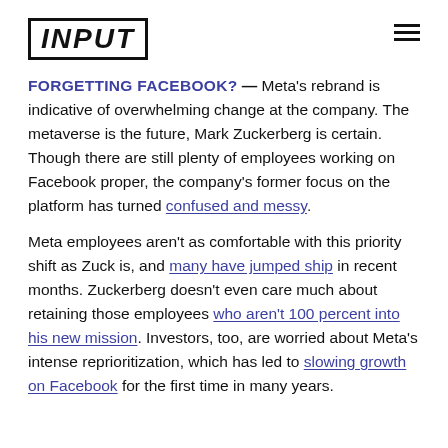INPUT
FORGETTING FACEBOOK? — Meta's rebrand is indicative of overwhelming change at the company. The metaverse is the future, Mark Zuckerberg is certain. Though there are still plenty of employees working on Facebook proper, the company's former focus on the platform has turned confused and messy.

Meta employees aren't as comfortable with this priority shift as Zuck is, and many have jumped ship in recent months. Zuckerberg doesn't even care much about retaining those employees who aren't 100 percent into his new mission. Investors, too, are worried about Meta's intense reprioritization, which has led to slowing growth on Facebook for the first time in many years.